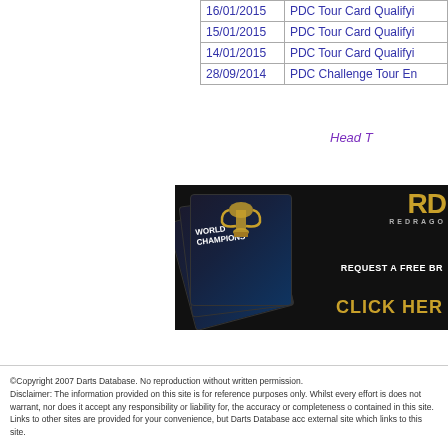| Date | Event |
| --- | --- |
| 16/01/2015 | PDC Tour Card Qualifyi |
| 15/01/2015 | PDC Tour Card Qualifyi |
| 14/01/2015 | PDC Tour Card Qualifyi |
| 28/09/2014 | PDC Challenge Tour En |
Head T
[Figure (photo): Red Dragon darts advertisement banner with brochures, trophy, Red Dragon logo, and text REQUEST A FREE BR... CLICK HER...]
©Copyright 2007 Darts Database. No reproduction without written permission. Disclaimer: The information provided on this site is for reference purposes only. Whilst every effort is does not warrant, nor does it accept any responsibility or liability for, the accuracy or completeness o contained in this site. Links to other sites are provided for your convenience, but Darts Database acc external site which links to this site.